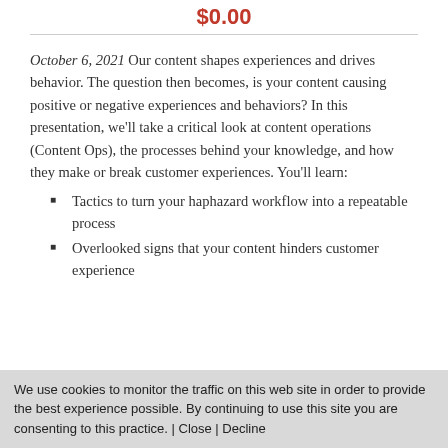$0.00
October 6, 2021 Our content shapes experiences and drives behavior. The question then becomes, is your content causing positive or negative experiences and behaviors? In this presentation, we'll take a critical look at content operations (Content Ops), the processes behind your knowledge, and how they make or break customer experiences. You'll learn:
Tactics to turn your haphazard workflow into a repeatable process
Overlooked signs that your content hinders customer experience
We use cookies to monitor the traffic on this web site in order to provide the best experience possible. By continuing to use this site you are consenting to this practice. | Close | Decline